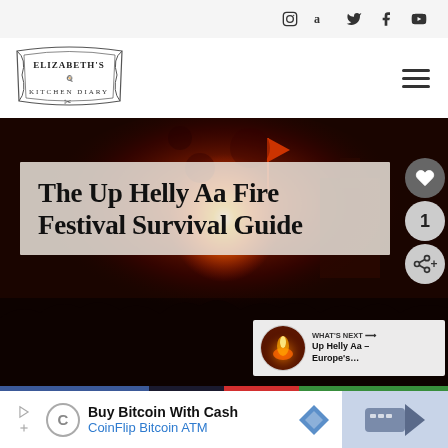Instagram, Amazon, Twitter, Facebook, YouTube social icons
[Figure (logo): Elizabeth's Kitchen Diary logo — vintage illustrated banner style]
[Figure (photo): Dark dramatic night festival scene with fire and crowd, flags visible in background]
The Up Helly Aa Fire Festival Survival Guide
WHAT'S NEXT → Up Helly Aa – Europe's…
Buy Bitcoin With Cash
CoinFlip Bitcoin ATM